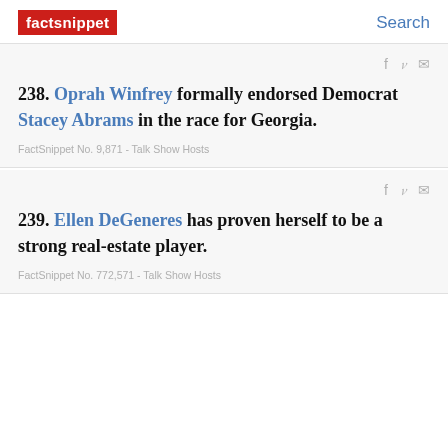factsnippet   Search
238. Oprah Winfrey formally endorsed Democrat Stacey Abrams in the race for Georgia.
FactSnippet No. 9,871 - Talk Show Hosts
239. Ellen DeGeneres has proven herself to be a strong real-estate player.
FactSnippet No. 772,571 - Talk Show Hosts